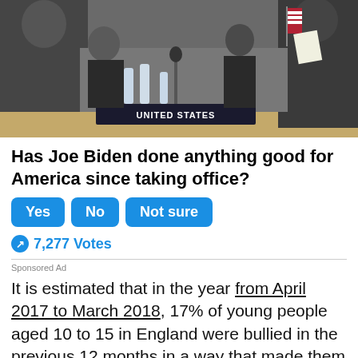[Figure (photo): Photo of people seated at a conference table, likely a government or diplomatic meeting. A 'UNITED STATES' nameplate is visible. An American flag is partially visible on the right. People in suits are seated.]
Has Joe Biden done anything good for America since taking office?
Yes | No | Not sure
7,277 Votes
Sponsored Ad
It is estimated that in the year from April 2017 to March 2018, 17% of young people aged 10 to 15 in England were bullied in the previous 12 months in a way that made them frightened or upset.
This is similar to the figure for previous years